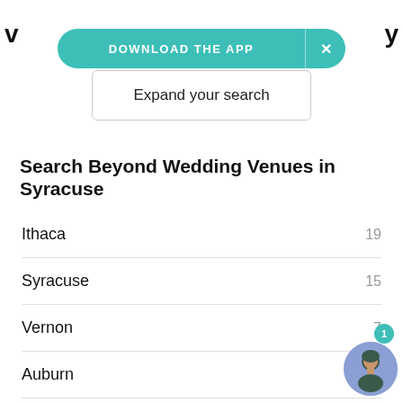[Figure (screenshot): Teal/green 'DOWNLOAD THE APP' banner button with X close button]
Expand your search
Search Beyond Wedding Venues in Syracuse
Ithaca  19
Syracuse  15
Vernon  7
Auburn
Oswego  6